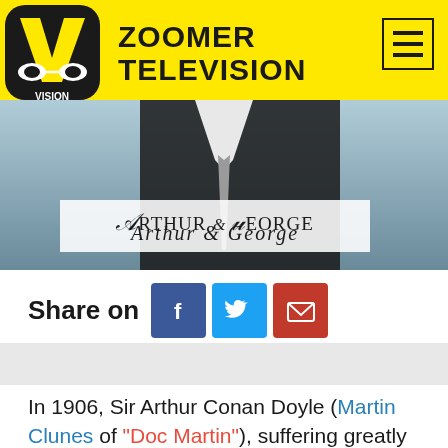[Figure (logo): Zoomer Television / Vision TV logo and navigation header with yellow background, Vision logo circle on left, ZOOMER TELEVISION text in bold black, hamburger menu icon on right]
[Figure (photo): Arthur & George title card overlay on a photo of a man in a dark suit, showing the text 'Arthur & George' in stylized font]
Share on
[Figure (infographic): Social share buttons: Facebook (blue), Twitter (light blue), Email (red)]
In 1906, Sir Arthur Conan Doyle (Martin Clunes of "Doc Martin"), suffering greatly from the loss of his wife and assailed by guilt and grief, could not even find refuge in his writing; Sherlock Holmes and Dr. Watson refused his call. It was only when his faithful secretary